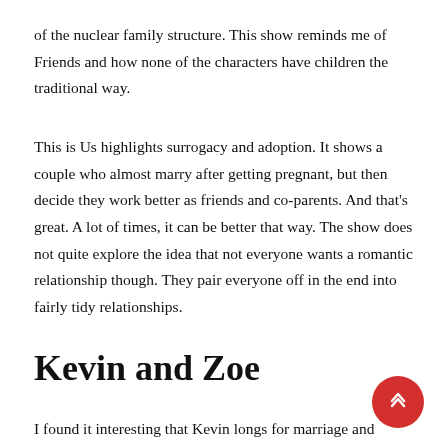of the nuclear family structure. This show reminds me of Friends and how none of the characters have children the traditional way.
This is Us highlights surrogacy and adoption. It shows a couple who almost marry after getting pregnant, but then decide they work better as friends and co-parents. And that's great. A lot of times, it can be better that way. The show does not quite explore the idea that not everyone wants a romantic relationship though. They pair everyone off in the end into fairly tidy relationships.
Kevin and Zoe
I found it interesting that Kevin longs for marriage and children, not necessarily because the idea of changing